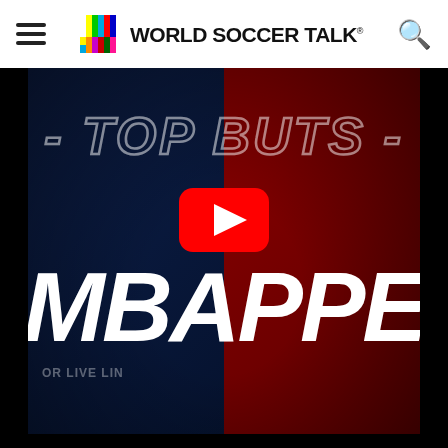World Soccer Talk
[Figure (screenshot): YouTube video thumbnail for 'Top Buts - Mbappe' video. Split blue and red background showing Mbappe in PSG jerseys. Large white italic text 'MBAPPE' and outlined italic text '- TOP BUTS -'. Red YouTube play button in center. World Soccer Talk website header at top.]